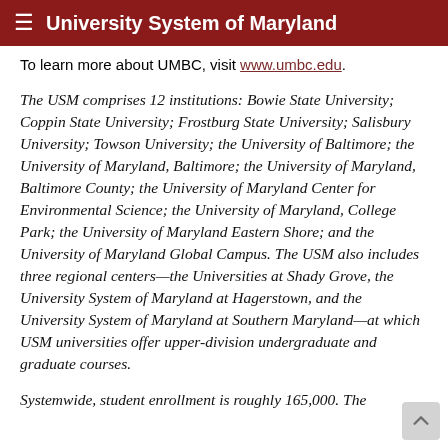University System of Maryland
To learn more about UMBC, visit www.umbc.edu.
The USM comprises 12 institutions: Bowie State University; Coppin State University; Frostburg State University; Salisbury University; Towson University; the University of Baltimore; the University of Maryland, Baltimore; the University of Maryland, Baltimore County; the University of Maryland Center for Environmental Science; the University of Maryland, College Park; the University of Maryland Eastern Shore; and the University of Maryland Global Campus. The USM also includes three regional centers—the Universities at Shady Grove, the University System of Maryland at Hagerstown, and the University System of Maryland at Southern Maryland—at which USM universities offer upper-division undergraduate and graduate courses.
Systemwide, student enrollment is roughly 165,000. The